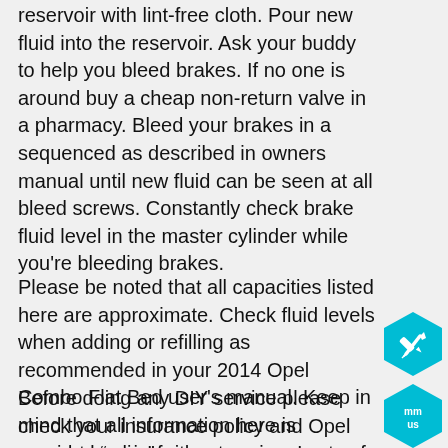reservoir with lint-free cloth. Pour new fluid into the reservoir. Ask your buddy to help you bleed brakes. If no one is around buy a cheap non-return valve in a pharmacy. Bleed your brakes in a sequenced as described in owners manual until new fluid can be seen at all bleed screws. Constantly check brake fluid level in the master cylinder while you're bleeding brakes.
Please be noted that all capacities listed here are approximate. Check fluid levels when adding or refilling as recommended in your 2014 Opel Combo Flat Bed user's manual. Keep in mind that all information here is provided “as is” without any warranty of any kind.
Before doing any DIY service please check your insurance policy and Opel warranty policy for your region. In some regions DIY service may invalidate your warranty.
[Figure (illustration): Teal hexagon button with pencil/edit icon]
[Figure (illustration): Teal hexagon button with 'mm us' text icon]